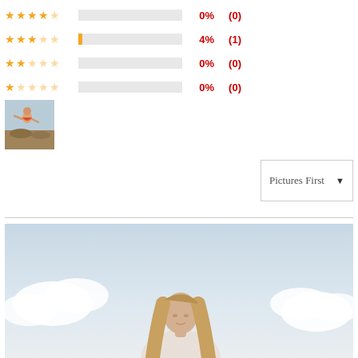[Figure (infographic): Star rating rows with bars, percentages and counts. Row 1: 4 stars, 0% (0). Row 2: 3 stars, 4% (1). Row 3: 2 stars, 0% (0). Row 4: 1 star, 0% (0).]
[Figure (photo): Small thumbnail photo of a woman sitting outdoors on rocks, wearing orange/red clothing]
Pictures First ▼
[Figure (photo): Large photo of a woman with long hair against a light sky background with clouds]